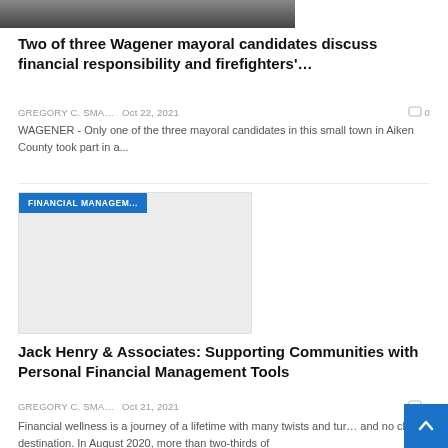[Figure (photo): Top portion of a photo showing people, cropped at top of page]
Two of three Wagener mayoral candidates discuss financial responsibility and firefighters'…
GREGORY C. SMA…   Oct 22, 2021   0
WAGENER - Only one of the three mayoral candidates in this small town in Aiken County took part in a...
[Figure (other): Article card with blue FINANCIAL MANAGEM... tag label and gray placeholder image]
Jack Henry & Associates: Supporting Communities with Personal Financial Management Tools
GREGORY C. SMA…   Oct 21, 2021   0
Financial wellness is a journey of a lifetime with many twists and turns and no clear destination. In August 2020, more than two-thirds of